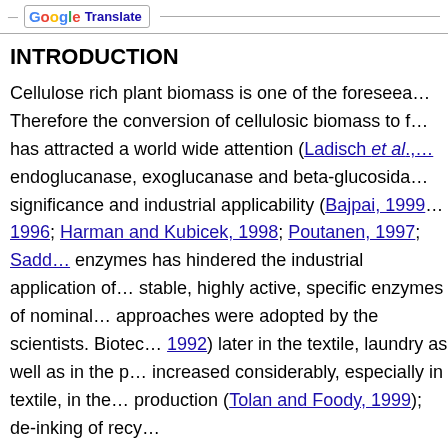Translate
INTRODUCTION
Cellulose rich plant biomass is one of the foreseea... Therefore the conversion of cellulosic biomass to h... has attracted a world wide attention (Ladisch et al., ... endoglucanase, exoglucanase and beta-glucosida... significance and industrial applicability (Bajpai, 1999... 1996; Harman and Kubicek, 1998; Poutanen, 1997; Sadd... enzymes has hindered the industrial application of... stable, highly active, specific enzymes of nominal... approaches were adopted by the scientists. Biotec... 1992) later in the textile, laundry as well as in the p... increased considerably, especially in textile, in the... production (Tolan and Foody, 1999); de-inking of recy...